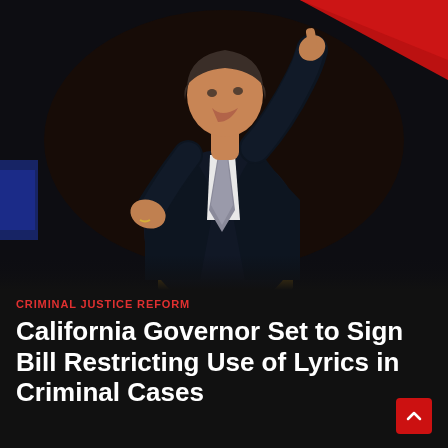[Figure (photo): A man in a dark suit speaking at a podium with microphones, pointing upward with his right index finger. He is wearing a white dress shirt and gray tie. The background is dark with a red banner/flag element visible in the upper right. The setting appears to be a formal political or public speaking event.]
CRIMINAL JUSTICE REFORM
California Governor Set to Sign Bill Restricting Use of Lyrics in Criminal Cases